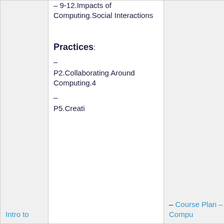|  | Standards / Practices | Resources |  |
| --- | --- | --- | --- |
|  | – 9-12.Impacts of Computing.Social Interactions

Practices:
– P2.Collaborating Around Computing.4
– P5.Creati… | – Course Plan – Compu… |  |
| Intro to |  |  |  |